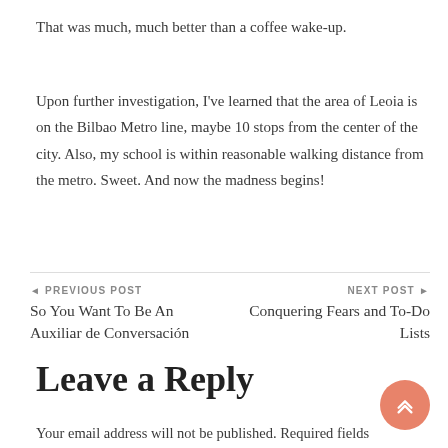That was much, much better than a coffee wake-up.
Upon further investigation, I've learned that the area of Leoia is on the Bilbao Metro line, maybe 10 stops from the center of the city. Also, my school is within reasonable walking distance from the metro. Sweet. And now the madness begins!
◄ PREVIOUS POST
So You Want To Be An Auxiliar de Conversación
NEXT POST ►
Conquering Fears and To-Do Lists
Leave a Reply
Your email address will not be published. Required fields are marked *